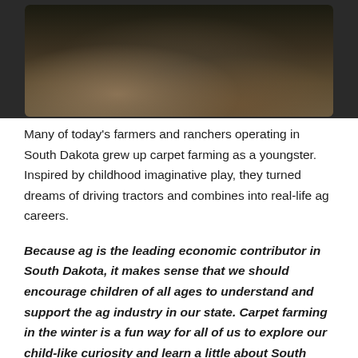[Figure (photo): Children playing with toy farm equipment (tractors, combines) on a wooden floor indoors. Two children are visible, one wearing a blue shirt, playing with green and red toy farm vehicles.]
Many of today's farmers and ranchers operating in South Dakota grew up carpet farming as a youngster. Inspired by childhood imaginative play, they turned dreams of driving tractors and combines into real-life ag careers.
Because ag is the leading economic contributor in South Dakota, it makes sense that we should encourage children of all ages to understand and support the ag industry in our state. Carpet farming in the winter is a fun way for all of us to explore our child-like curiosity and learn a little about South Dakota ag in the process.